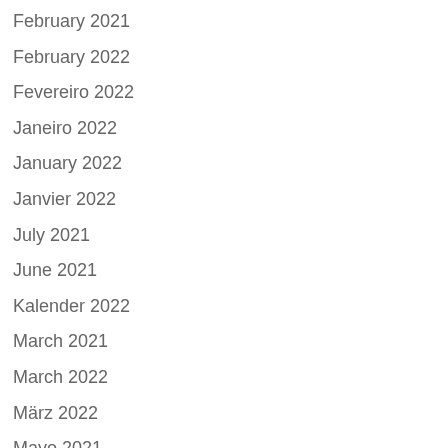February 2021
February 2022
Fevereiro 2022
Janeiro 2022
January 2022
Janvier 2022
July 2021
June 2021
Kalender 2022
March 2021
March 2022
März 2022
Mayo 2021